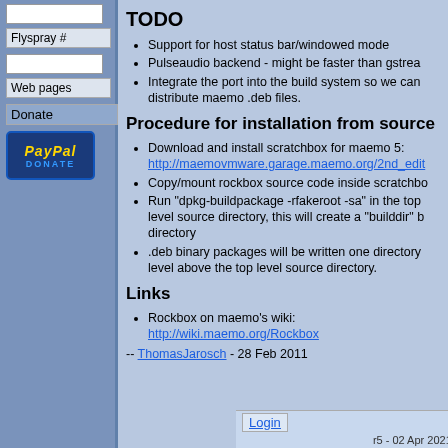Flyspray #
Web pages
Donate
[Figure (logo): PayPal Donate button]
TODO
Support for host status bar/windowed mode
Pulseaudio backend - might be faster than gstream
Integrate the port into the build system so we can distribute maemo .deb files.
Procedure for installation from source
Download and install scratchbox for maemo 5: http://maemovmware.garage.maemo.org/2nd_edit
Copy/mount rockbox source code inside scratchbox
Run "dpkg-buildpackage -rfakeroot -sa" in the top level source directory, this will create a "builddir" b directory
.deb binary packages will be written one directory level above the top level source directory.
Links
Rockbox on maemo's wiki: http://wiki.maemo.org/Rockbox
-- ThomasJarosch - 28 Feb 2011
Login | r5 - 02 Apr 2021 - 20:46:07 - Unknown